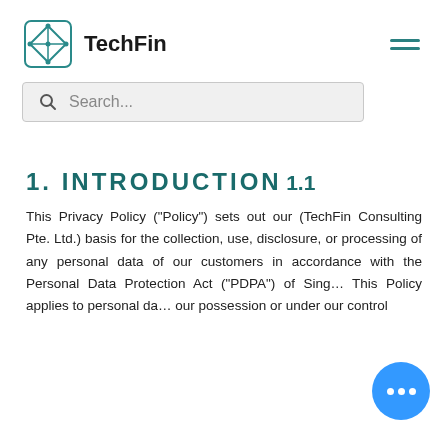TechFin
1. INTRODUCTION
1.1
This Privacy Policy (“Policy”) sets out our (TechFin Consulting Pte. Ltd.) basis for the collection, use, disclosure, or processing of any personal data of our customers in accordance with the Personal Data Protection Act (“PDPA”) of Sing… This Policy applies to personal da… our possession or under our control